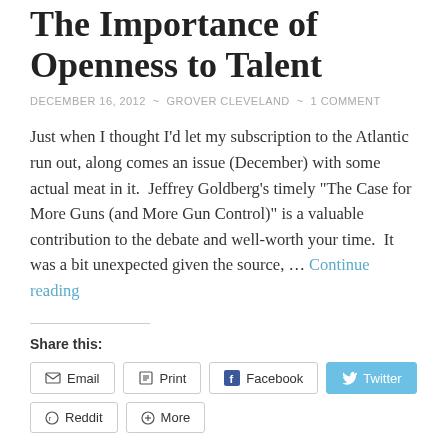The Importance of Openness to Talent
DECEMBER 16, 2012 ~ GROVER CLEVELAND ~ 1 COMMENT
Just when I thought I'd let my subscription to the Atlantic run out, along comes an issue (December) with some actual meat in it.  Jeffrey Goldberg's timely "The Case for More Guns (and More Gun Control)" is a valuable contribution to the debate and well-worth your time.  It was a bit unexpected given the source, … Continue reading
Share this:
Email  Print  Facebook  Twitter